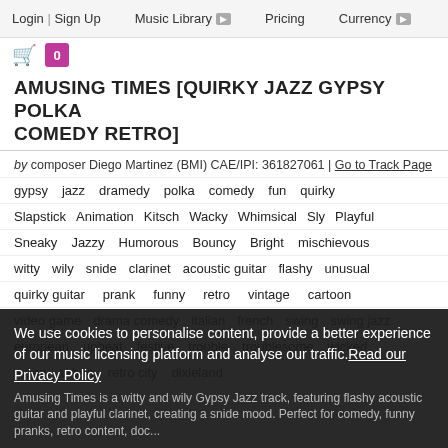Login | Sign Up   Music Library   Pricing   Currency
AMUSING TIMES [QUIRKY JAZZ GYPSY POLKA COMEDY RETRO]
by composer Diego Martinez (BMI) CAE/IPI: 361827061 | Go to Track Page
gypsy   jazz   dramedy   polka   comedy   fun   quirky
Slapstick   Animation   Kitsch   Wacky   Whimsical   Sly   Playful
Sneaky   Jazzy   Humorous   Bouncy   Bright   mischievous
witty   wily   snide   clarinet   acoustic guitar   flashy   unusual
quirky guitar   prank   funny   retro   vintage   cartoon
video game   drama comedy   italian   french   swing   swing jazz
european   upbeat   festive   trouble   troublesome   wicked
mean   urban   retro city   dixieland
Amusing Times is a witty and wily Gypsy Jazz track, featuring flashy acoustic guitar and playful clarinet, creating a snide mood. Perfect for comedy, funny pranks, retro content, doc...
We use cookies to personalise content, provide a better experience of our music licensing platform and analyse our traffic. Read our Privacy Policy